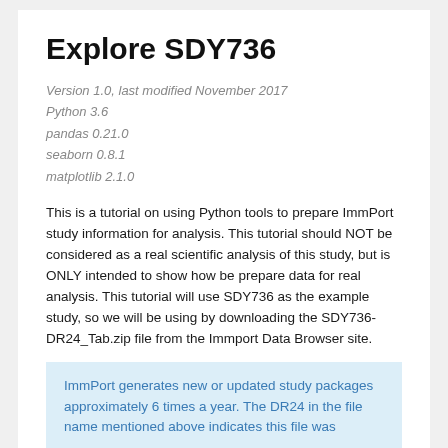Explore SDY736
Version 1.0, last modified November 2017
Python 3.6
pandas 0.21.0
seaborn 0.8.1
matplotlib 2.1.0
This is a tutorial on using Python tools to prepare ImmPort study information for analysis. This tutorial should NOT be considered as a real scientific analysis of this study, but is ONLY intended to show how be prepare data for real analysis. This tutorial will use SDY736 as the example study, so we will be using by downloading the SDY736-DR24_Tab.zip file from the Immport Data Browser site.
ImmPort generates new or updated study packages approximately 6 times a year. The DR24 in the file name mentioned above indicates this file was